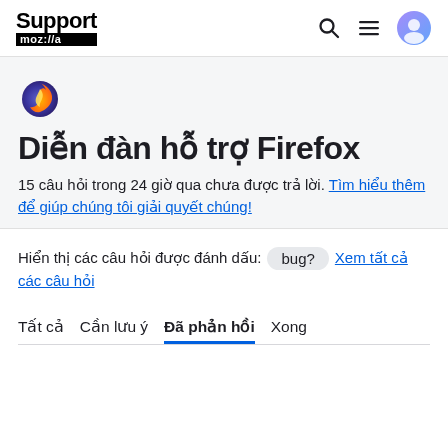Support mozilla//a
[Figure (logo): Firefox flame logo icon]
Diễn đàn hỗ trợ Firefox
15 câu hỏi trong 24 giờ qua chưa được trả lời. Tìm hiểu thêm để giúp chúng tôi giải quyết chúng!
Hiển thị các câu hỏi được đánh dấu: bug? Xem tất cả các câu hỏi
Tất cả  Cần lưu ý  Đã phản hồi  Xong